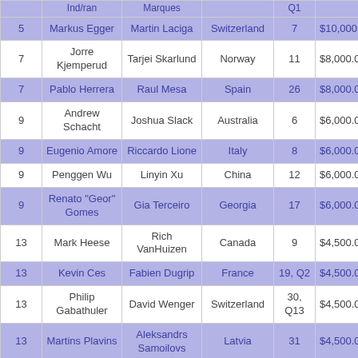| Place | Player | Partner | Country | Seed | Prize |
| --- | --- | --- | --- | --- | --- |
| (partial top row) | Ind/ran | Marques |  | Q1 |  |
| 5 | Markus Egger | Martin Laciga | Switzerland | 7 | $10,000.00 |
| 7 | Jorre Kjemperud | Tarjei Skarlund | Norway | 11 | $8,000.00 |
| 7 | Pablo Herrera | Raul Mesa | Spain | 26 | $8,000.00 |
| 9 | Andrew Schacht | Joshua Slack | Australia | 6 | $6,000.00 |
| 9 | Eugenio Amore | Riccardo Lione | Italy | 8 | $6,000.00 |
| 9 | Penggen Wu | Linyin Xu | China | 12 | $6,000.00 |
| 9 | Renato "Geor" Gomes | Gia Terceiro | Georgia | 17 | $6,000.00 |
| 13 | Mark Heese | Rich VanHuizen | Canada | 9 | $4,500.00 |
| 13 | Kevin Ces | Fabien Dugrip | France | 19, Q2 | $4,500.00 |
| 13 | Philip Gabathuler | David Wenger | Switzerland | 30, Q13 | $4,500.00 |
| 13 | Martins Plavins | Aleksandrs Samoilovs | Latvia | 31 | $4,500.00 |
| (partial bottom) | Abron | Conrad |  |  |  |